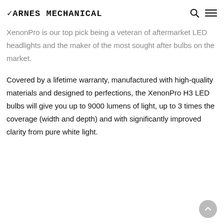Carnes Mechanical
XenonPro is our top pick being a veteran of aftermarket LED headlights and the maker of the most sought after bulbs on the market.
Covered by a lifetime warranty, manufactured with high-quality materials and designed to perfections, the XenonPro H3 LED bulbs will give you up to 9000 lumens of light, up to 3 times the coverage (width and depth) and with significantly improved clarity from pure white light.